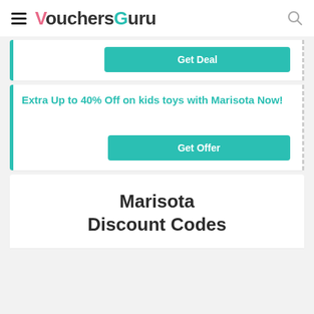VouchersGuru
[Figure (screenshot): Coupon card with Get Deal button]
Extra Up to 40% Off on kids toys with Marisota Now!
[Figure (screenshot): Coupon card with Get Offer button]
Marisota Discount Codes